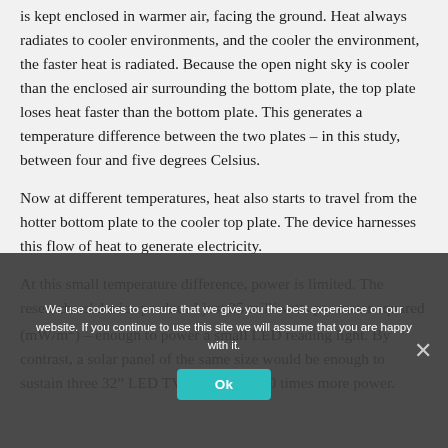is kept enclosed in warmer air, facing the ground. Heat always radiates to cooler environments, and the cooler the environment, the faster heat is radiated. Because the open night sky is cooler than the enclosed air surrounding the bottom plate, the top plate loses heat faster than the bottom plate. This generates a temperature difference between the two plates – in this study, between four and five degrees Celsius.
Now at different temperatures, heat also starts to travel from the hotter bottom plate to the cooler top plate. The device harnesses this flow of heat to generate electricity.
At this small temperature difference, power is limited. The researchers' device produced just 25 milliwatts per meter squared (mW/m²) – enough to power a small LED reading light. By contrast, a solar panel of the same size would be enough to sustain three 32" LED TVs – that's 4,000 times more power.
We use cookies to ensure that we give you the best experience on our website. If you continue to use this site we will assume that you are happy with it.